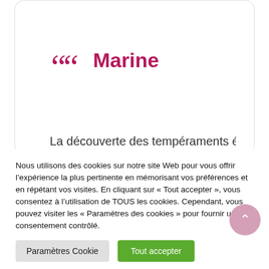[Figure (screenshot): A testimonial card with a large crimson open-quote mark and the name 'Marine' in crimson bold text, with partial text visible at the bottom.]
La découverte des tempéraments était
Nous utilisons des cookies sur notre site Web pour vous offrir l'expérience la plus pertinente en mémorisant vos préférences et en répétant vos visites. En cliquant sur « Tout accepter », vous consentez à l'utilisation de TOUS les cookies. Cependant, vous pouvez visiter les « Paramètres des cookies » pour fournir un consentement contrôlé.
Paramètres Cookie
Tout accepter